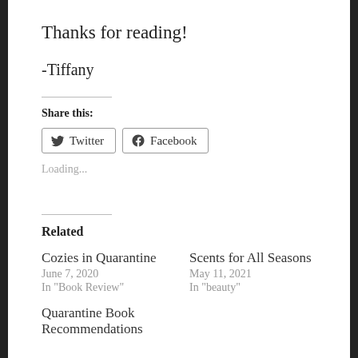Thanks for reading!
-Tiffany
Share this:
Twitter  Facebook
Loading...
Related
Cozies in Quarantine
June 7, 2020
In "Book Review"
Scents for All Seasons
May 11, 2021
In "beauty"
Quarantine Book Recommendations